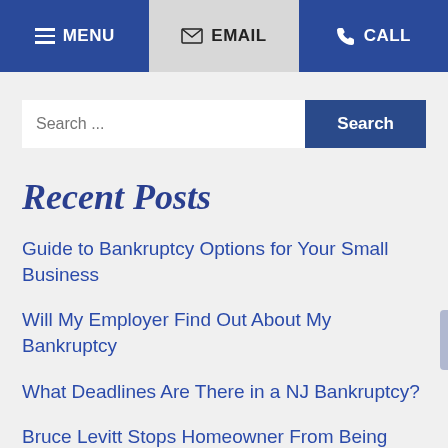MENU | EMAIL | CALL
Search ...
Recent Posts
Guide to Bankruptcy Options for Your Small Business
Will My Employer Find Out About My Bankruptcy
What Deadlines Are There in a NJ Bankruptcy?
Bruce Levitt Stops Homeowner From Being Evicted By Lender